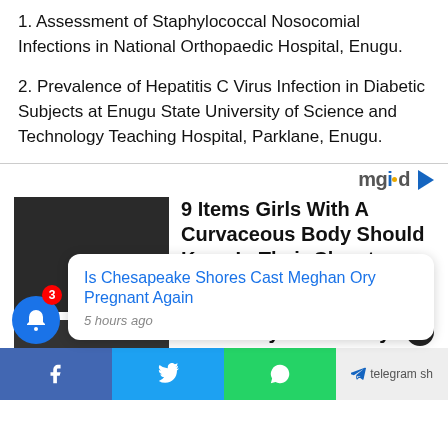1. Assessment of Staphylococcal Nosocomial Infections in National Orthopaedic Hospital, Enugu.
2. Prevalence of Hepatitis C Virus Infection in Diabetic Subjects at Enugu State University of Science and Technology Teaching Hospital, Parklane, Enugu.
[Figure (screenshot): mgid advertisement widget with articles: '9 Items Girls With A Curvaceous Body Should Keep In Their Closet' by Herbeauty, and 'Your Baby Is Still Tiny.' A notification popup reads 'Is Chesapeake Shores Cast Meghan Ory Pregnant Again' posted 5 hours ago. A bell notification icon with badge '3' is visible. Bottom social sharing bar shows Facebook, Twitter, WhatsApp, and Telegram buttons.]